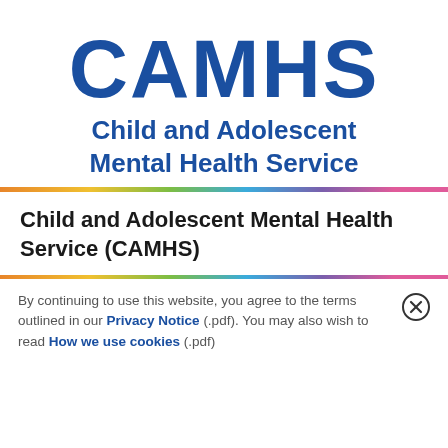[Figure (logo): CAMHS logo with large blue bold text 'CAMHS' and subtitle 'Child and Adolescent Mental Health Service' in blue bold text]
[Figure (other): Rainbow gradient horizontal divider bar with colors orange, yellow, green, blue, purple, pink]
Child and Adolescent Mental Health Service (CAMHS)
[Figure (other): Rainbow gradient horizontal divider bar]
By continuing to use this website, you agree to the terms outlined in our Privacy Notice (.pdf). You may also wish to read How we use cookies (.pdf)